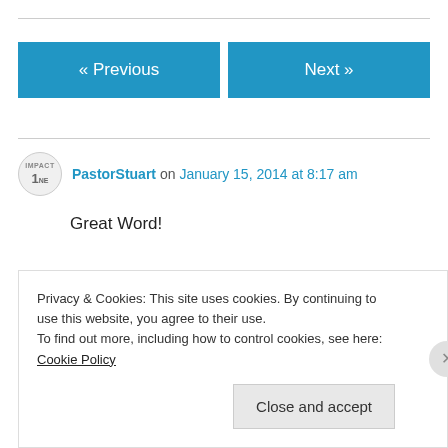« Previous
Next »
PastorStuart on January 15, 2014 at 8:17 am
Great Word!
Privacy & Cookies: This site uses cookies. By continuing to use this website, you agree to their use.
To find out more, including how to control cookies, see here: Cookie Policy
Close and accept